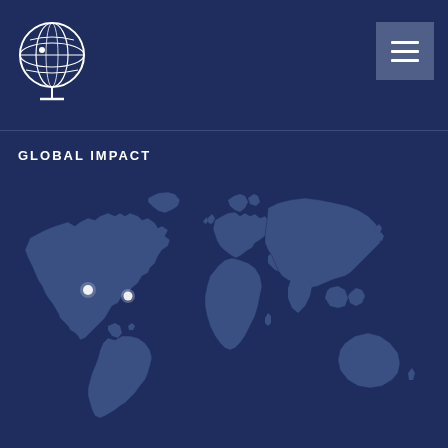[Figure (logo): Globe/world logo with circular design and stand, white on dark navy background, with text around the globe]
GLOBAL IMPACT
[Figure (map): World map in muted blue-gray on dark navy background showing all continents, with two white glowing dots marking locations in North America (one in western US area, one in southeastern US/Caribbean area)]